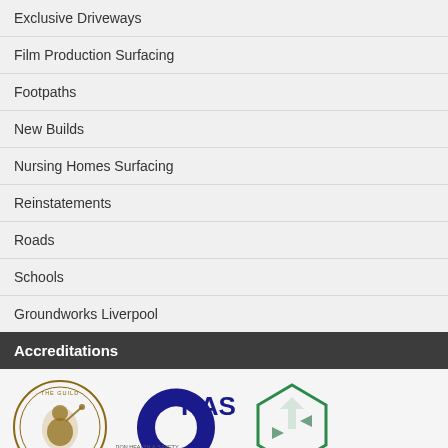Exclusive Driveways
Film Production Surfacing
Footpaths
New Builds
Nursing Homes Surfacing
Reinstatements
Roads
Schools
Groundworks Liverpool
Accreditations
[Figure (logo): Three accreditation logos: The Guild of Master Craftsmen, CHAS Accredited Contractor, and Constructionline]